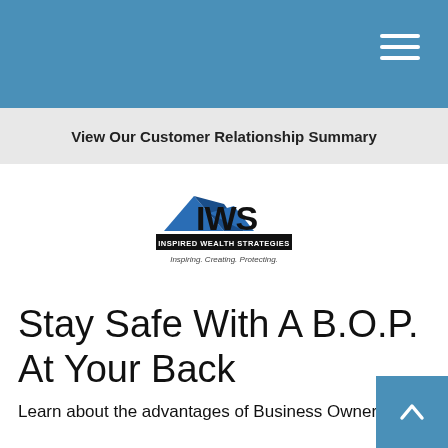View Our Customer Relationship Summary
[Figure (logo): IWS Inspired Wealth Strategies logo with tagline: Inspiring. Creating. Protecting.]
Stay Safe With A B.O.P. At Your Back
Learn about the advantages of Business Owner Policies with this highly educational and fun animated video.